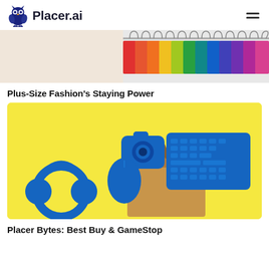Placer.ai
[Figure (photo): Split hero image: left side beige/neutral background, right side colorful hanging shirts in a row]
Plus-Size Fashion’s Staying Power
[Figure (photo): Yellow background with blue electronics (headphones, mouse, camera, keyboard) spilling out of a brown paper shopping bag]
Placer Bytes: Best Buy & GameStop